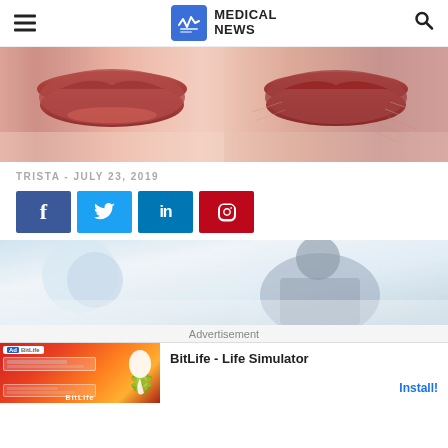MEDICAL NEWS
[Figure (photo): Close-up of lips showing before and after skin aging comparison — left side shows fuller lips, right side shows wrinkled skin around lips]
TRISTA - JULY 23, 2019
[Figure (infographic): Social media share buttons: Facebook, Twitter, LinkedIn, Pinterest]
[Figure (photo): Medical/clinical background image with blurred figures in a medical setting]
Advertisement
[Figure (screenshot): BitLife - Life Simulator advertisement banner with Ad badge and Install button]